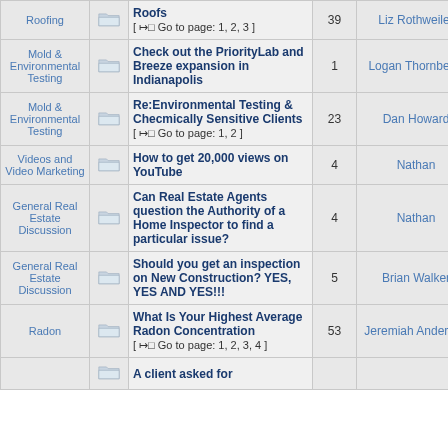| Category |  | Topic | Replies | Last Post By | Views |
| --- | --- | --- | --- | --- | --- |
| Roofing | [icon] | Roofs
[ → Go to page: 1, 2, 3 ] | 39 | Liz Rothweiler | 2109... |
| Mold & Environmental Testing | [icon] | Check out the PriorityLab and Breeze expansion in Indianapolis | 1 | Logan Thornberry | 445... |
| Mold & Environmental Testing | [icon] | Re:Environmental Testing & Checmically Sensitive Clients
[ → Go to page: 1, 2 ] | 23 | Dan Howard | 18384... |
| Videos and Video Marketing | [icon] | How to get 20,000 views on YouTube | 4 | Nathan | 5282... |
| General Real Estate Discussion | [icon] | Can Real Estate Agents question the Authority of a Home Inspector to find a particular issue? | 4 | Nathan | 2384... |
| General Real Estate Discussion | [icon] | Should you get an inspection on New Construction? YES, YES AND YES!!! | 5 | Brian Walker | 9598... |
| Radon | [icon] | What Is Your Highest Average Radon Concentration
[ → Go to page: 1, 2, 3, 4 ] | 53 | Jeremiah Anderson | 2105... |
|  | [icon] | A client asked for |  |  |  |